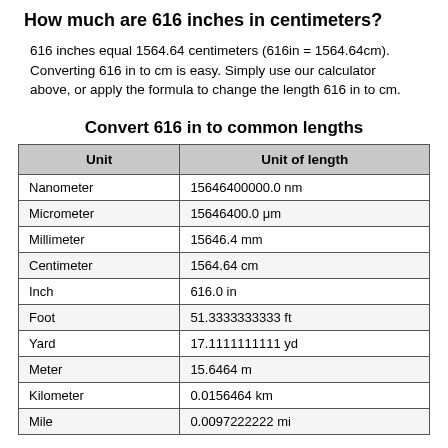How much are 616 inches in centimeters?
616 inches equal 1564.64 centimeters (616in = 1564.64cm). Converting 616 in to cm is easy. Simply use our calculator above, or apply the formula to change the length 616 in to cm.
Convert 616 in to common lengths
| Unit | Unit of length |
| --- | --- |
| Nanometer | 15646400000.0 nm |
| Micrometer | 15646400.0 μm |
| Millimeter | 15646.4 mm |
| Centimeter | 1564.64 cm |
| Inch | 616.0 in |
| Foot | 51.3333333333 ft |
| Yard | 17.1111111111 yd |
| Meter | 15.6464 m |
| Kilometer | 0.0156464 km |
| Mile | 0.0097222222 mi |